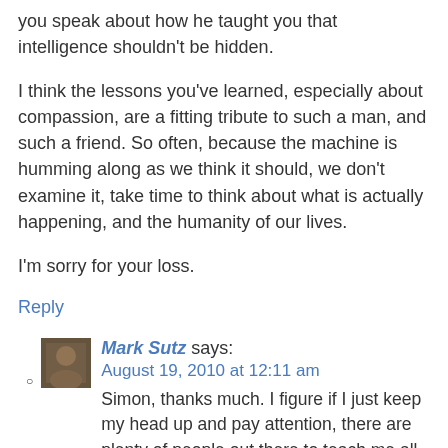you speak about how he taught you that intelligence shouldn't be hidden.
I think the lessons you've learned, especially about compassion, are a fitting tribute to such a man, and such a friend. So often, because the machine is humming along as we think it should, we don't examine it, take time to think about what is actually happening, and the humanity of our lives.
I'm sorry for your loss.
Reply
Mark Sutz says:
August 19, 2010 at 12:11 am
Simon, thanks much. I figure if I just keep my head up and pay attention, there are plenty of people out there to teach me all sorts of things. As a fiction writer, I hold to the Henry James, quote, ‘Be one on whom nothing is lost.’ It works well for just being a human,